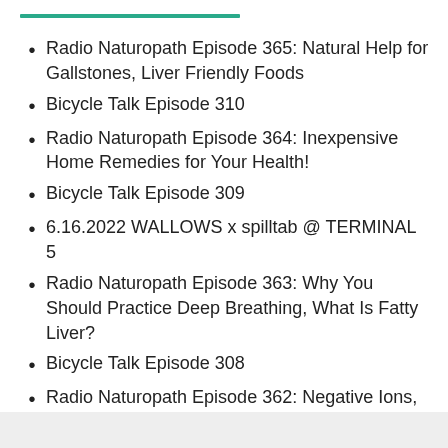Radio Naturopath Episode 365: Natural Help for Gallstones, Liver Friendly Foods
Bicycle Talk Episode 310
Radio Naturopath Episode 364: Inexpensive Home Remedies for Your Health!
Bicycle Talk Episode 309
6.16.2022 WALLOWS x spilltab @ TERMINAL 5
Radio Naturopath Episode 363: Why You Should Practice Deep Breathing, What Is Fatty Liver?
Bicycle Talk Episode 308
Radio Naturopath Episode 362: Negative Ions, Best Magnesium Forms, Help for Statin Side Effects
Bicycle Talk Episode 307
Radio Naturopath Episode 361: Healthy Hydration, Open Water Swimming for Heath